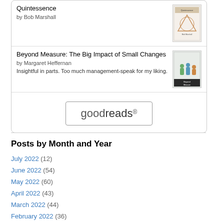Quintessence
by Bob Marshall
Beyond Measure: The Big Impact of Small Changes
by Margaret Heffernan
Insightful in parts. Too much management-speak for my liking.
[Figure (logo): goodreads logo inside a rounded rectangle button]
Posts by Month and Year
July 2022 (12)
June 2022 (54)
May 2022 (60)
April 2022 (43)
March 2022 (44)
February 2022 (36)